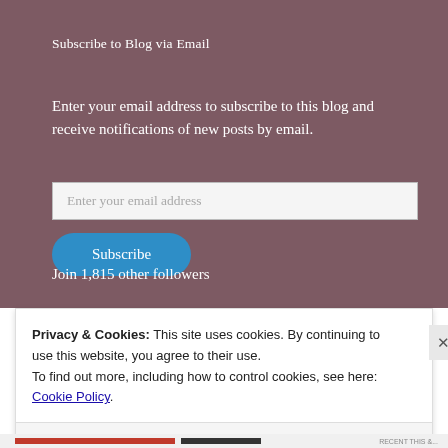Subscribe to Blog via Email
Enter your email address to subscribe to this blog and receive notifications of new posts by email.
Join 1,815 other followers
Privacy & Cookies: This site uses cookies. By continuing to use this website, you agree to their use.
To find out more, including how to control cookies, see here: Cookie Policy
Close and accept